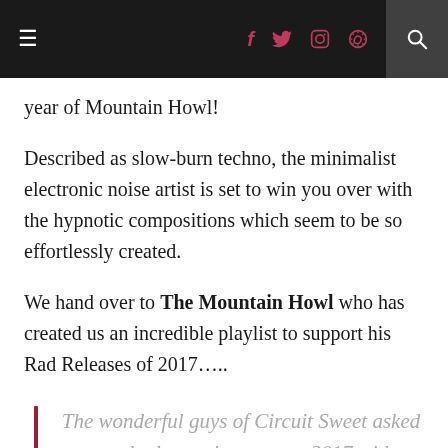≡  [social icons: f, twitter, instagram, pinterest]  [search icon]
year of Mountain Howl!
Described as slow-burn techno, the minimalist electronic noise artist is set to win you over with the hypnotic compositions which seem to be so effortlessly created.
We hand over to The Mountain Howl who has created us an incredible playlist to support his Rad Releases of 2017…..
The wonderful guys of Circuit Sweet asked me and other artists see out 2017 with a top 5 of my